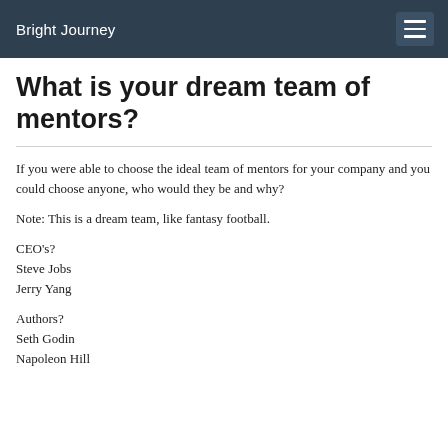Bright Journey
What is your dream team of mentors?
If you were able to choose the ideal team of mentors for your company and you could choose anyone, who would they be and why?
Note: This is a dream team, like fantasy football.
CEO's?
Steve Jobs
Jerry Yang
Authors?
Seth Godin
Napoleon Hill